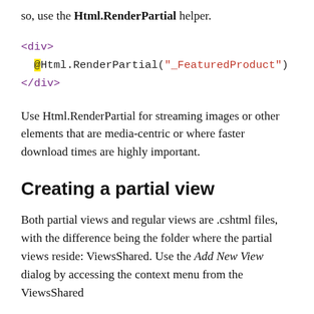so, use the Html.RenderPartial helper.
<div>
  @Html.RenderPartial("_FeaturedProduct")
</div>
Use Html.RenderPartial for streaming images or other elements that are media-centric or where faster download times are highly important.
Creating a partial view
Both partial views and regular views are .cshtml files, with the difference being the folder where the partial views reside: ViewsShared. Use the Add New View dialog by accessing the context menu from the ViewsShared